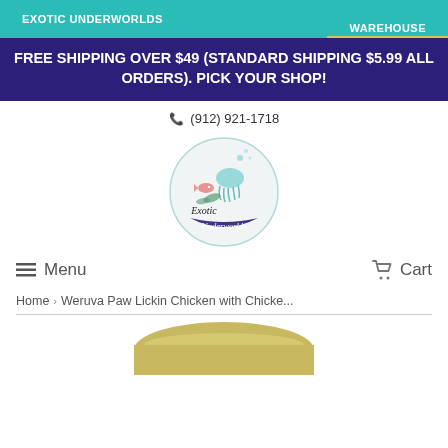EXOTIC UNDERWORLDS   WAREHOUSE
FREE SHIPPING OVER $49 (STANDARD SHIPPING $5.99 ALL ORDERS). PICK YOUR SHOP!
☎ (912) 921-1718
[Figure (logo): Exotic Underworlds circular logo with illustrated jellyfish and fish]
≡ Menu   🛒 Cart
Home › Weruva Paw Lickin Chicken with Chicke...
[Figure (photo): Bottom portion of a product can, partially visible at the very bottom of the page]